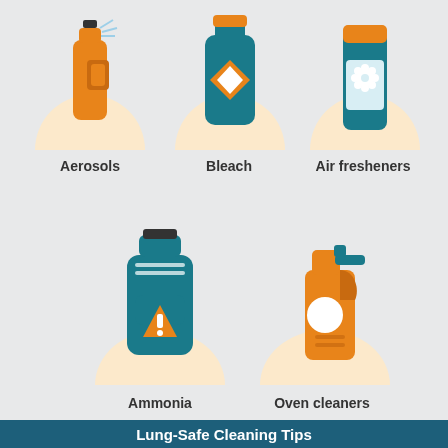[Figure (infographic): Infographic showing common cleaning products harmful to lungs: Aerosols, Bleach, Air fresheners (top row), Ammonia, Oven cleaners (middle row). Section header 'Lung-Safe Cleaning Tips' in teal banner. Bottom row shows lung-safe tips icons: no spray bottle, face mask, open window.]
Aerosols
Bleach
Air fresheners
Ammonia
Oven cleaners
Lung-Safe Cleaning Tips